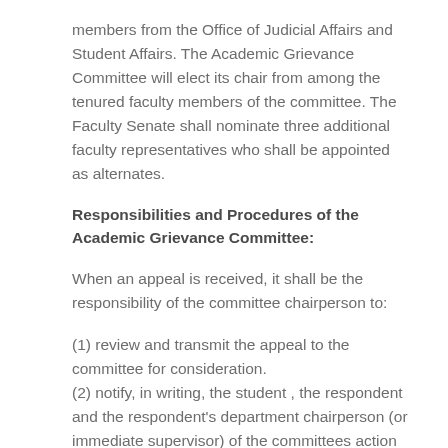members from the Office of Judicial Affairs and Student Affairs. The Academic Grievance Committee will elect its chair from among the tenured faculty members of the committee. The Faculty Senate shall nominate three additional faculty representatives who shall be appointed as alternates.
Responsibilities and Procedures of the Academic Grievance Committee:
When an appeal is received, it shall be the responsibility of the committee chairperson to:
(1) review and transmit the appeal to the committee for consideration.
(2) notify, in writing, the student , the respondent and the respondent's department chairperson (or immediate supervisor) of the committees action on